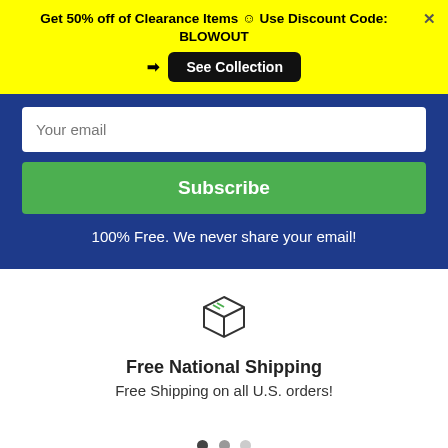Get 50% off of Clearance Items ☺ Use Discount Code: BLOWOUT → See Collection
Your email
Subscribe
100% Free. We never share your email!
[Figure (illustration): Box/package icon outline in dark grey]
Free National Shipping
Free Shipping on all U.S. orders!